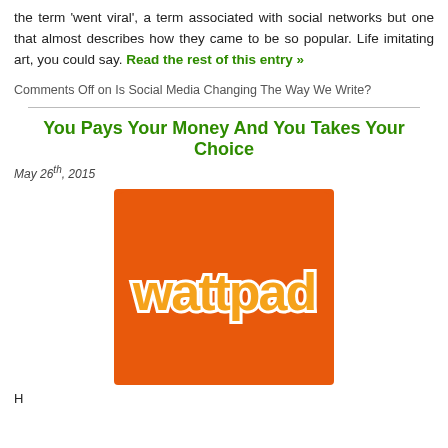the term 'went viral', a term associated with social networks but one that almost describes how they came to be so popular. Life imitating art, you could say. Read the rest of this entry »
Comments Off on Is Social Media Changing The Way We Write?
You Pays Your Money And You Takes Your Choice
May 26th, 2015
[Figure (logo): Wattpad logo: orange square background with 'wattpad' text in bold yellow-orange with white outline]
H